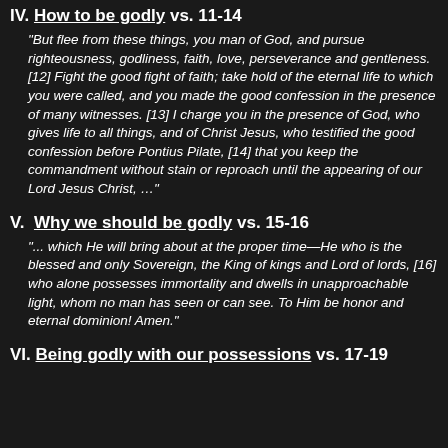IV. How to be godly vs. 11-14
“But flee from these things, you man of God, and pursue righteousness, godliness, faith, love, perseverance and gentleness. [12] Fight the good fight of faith; take hold of the eternal life to which you were called, and you made the good confession in the presence of many witnesses. [13] I charge you in the presence of God, who gives life to all things, and of Christ Jesus, who testified the good confession before Pontius Pilate, [14] that you keep the commandment without stain or reproach until the appearing of our Lord Jesus Christ, …”
V.  Why we should be godly vs. 15-16
“... which He will bring about at the proper time—He who is the blessed and only Sovereign, the King of kings and Lord of lords, [16] who alone possesses immortality and dwells in unapproachable light, whom no man has seen or can see. To Him be honor and eternal dominion! Amen.”
VI. Being godly with our possessions vs. 17-19